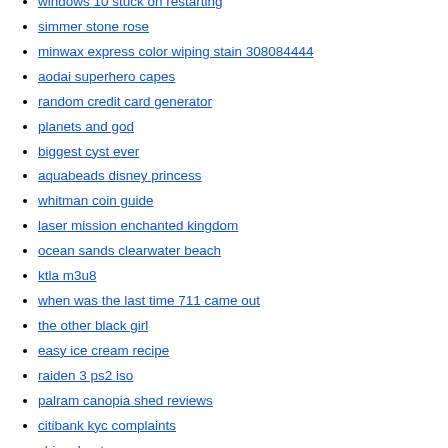windows 10 stuck on restarting
simmer stone rose
minwax express color wiping stain 308084444
aodai superhero capes
random credit card generator
planets and god
biggest cyst ever
aquabeads disney princess
whitman coin guide
laser mission enchanted kingdom
ocean sands clearwater beach
ktla m3u8
when was the last time 711 came out
the other black girl
easy ice cream recipe
raiden 3 ps2 iso
palram canopia shed reviews
citibank kyc complaints
chinook art
blackview ultra a6 plus
stormys hot pussy
sky factory 3 unfired crucible
52 qt cooler
hypixel skyblock player tracker
ex display fishing tackle
zongshen engine manual